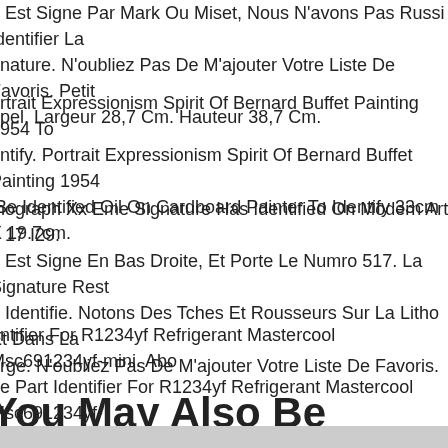e Est Signe Par Mark Ou Miset, Nous N'avons Pas Russi Identifier La gnature. N'oubliez Pas De M'ajouter Votre Liste De Favoris. Petit ppel. Largeur 28,7 Cm. Hauteur 38,7 Cm.
ortrait Expressionism Spirit Of Bernard Buffet Painting 1954 To entify. Portrait Expressionism Spirit Of Bernard Buffet Painting 1954 Be Identified Oil On Cardboard Painter To Identify 33cm X 19.7cm.
thograph Xx Eme Signature Has Identified On Modern Art 5 17 I29. e Est Signe En Bas Droite, Et Porte Le Numro 517. La Signature Rest e Identifie. Notons Des Tches Et Rousseurs Sur La Litho Et Dans La arge. N'oubliez Pas De M'ajouter Votre Liste De Favoris.
entifier For R1234yf Refrigerant Mastercool Msc691234yf-mini. Abo ne Part Identifier For R1234yf Refrigerant Mastercool Msc691234yf- ini. Part # 691234yf-mini.
You May Also Be Interested In